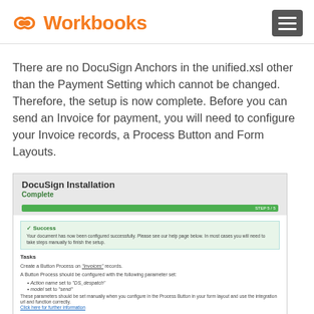Workbooks
There are no DocuSign Anchors in the unified.xsl other than the Payment Setting which cannot be changed. Therefore, the setup is now complete. Before you can send an Invoice for payment, you will need to configure your Invoice records, a Process Button and Form Layouts.
[Figure (screenshot): DocuSign Installation Complete screen showing a green progress bar, a success message, and task instructions including creating a Button Process on Invoices records with Action name set to DS_despatch and model set to send.]